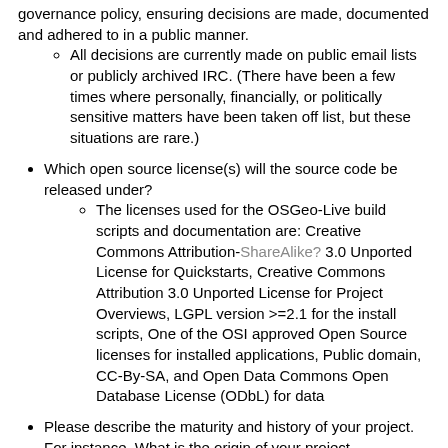governance policy, ensuring decisions are made, documented and adhered to in a public manner.
All decisions are currently made on public email lists or publicly archived IRC. (There have been a few times where personally, financially, or politically sensitive matters have been taken off list, but these situations are rare.)
Which open source license(s) will the source code be released under?
The licenses used for the OSGeo-Live build scripts and documentation are: Creative Commons Attribution-ShareAlike? 3.0 Unported License for Quickstarts, Creative Commons Attribution 3.0 Unported License for Project Overviews, LGPL version >=2.1 for the install scripts, One of the OSI approved Open Source licenses for installed applications, Public domain, CC-By-SA, and Open Data Commons Open Database License (ODbL) for data
Please describe the maturity and history of your project. For instance, What is the origin of your project (commercial, experimental, thesis or other